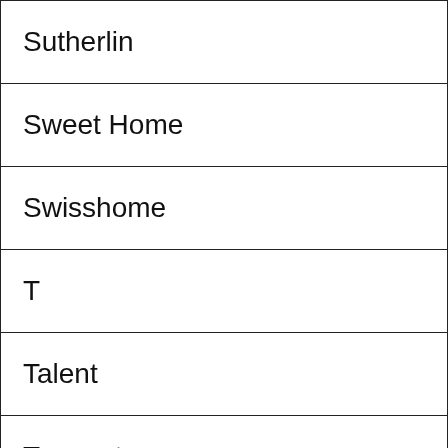| Sutherlin |
| Sweet Home |
| Swisshome |
| T |
| Talent |
| Tangent |
| Tenmile |
| Terrebonne |